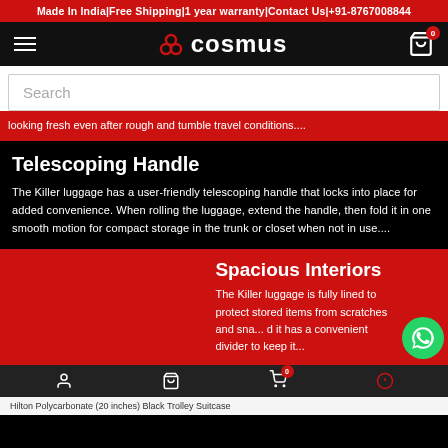Made In India|Free Shipping|1 year warranty|Contact Us|+91-8767008844
[Figure (logo): Cosmus brand logo with three-petal icon and text COSMUS, hamburger menu left, cart icon right with badge 0]
Search
looking fresh even after rough and tumble travel conditions....
Telescoping Handle
The Killer luggage has a user-friendly telescoping handle that locks into place for added convenience. When rolling the luggage, extend the handle, then fold it in one smooth motion for compact storage in the trunk or closet when not in use....
Spacious Interiors
The Killer luggage is fully lined to protect stored items from scratches and sna... d it has a convenient divider to keep it...
Hilton Polycarbonate (20 inches) Black Trolley Suitcase